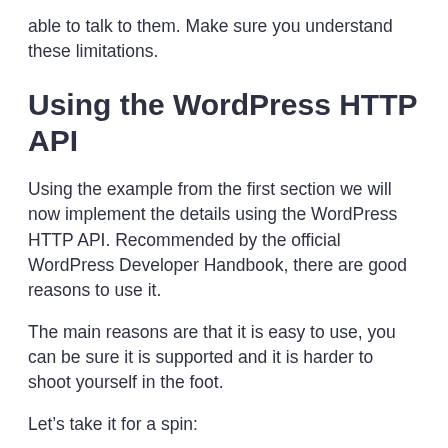able to talk to them. Make sure you understand these limitations.
Using the WordPress HTTP API
Using the example from the first section we will now implement the details using the WordPress HTTP API. Recommended by the official WordPress Developer Handbook, there are good reasons to use it.
The main reasons are that it is easy to use, you can be sure it is supported and it is harder to shoot yourself in the foot.
Let’s take it for a spin: